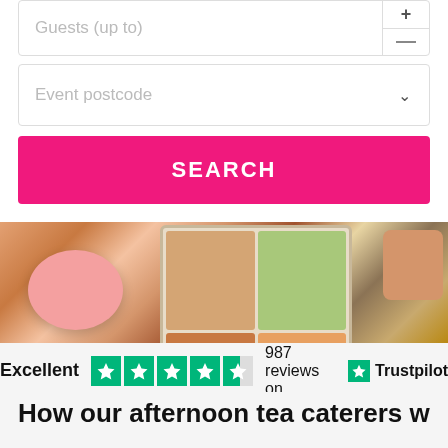Guests (up to)
Event postcode
SEARCH
[Figure (photo): Overhead food photo showing pink macaron, bento box with assorted food items, tea cup, and berry tart on warm-toned background]
Excellent  987 reviews on  Trustpilot
How our afternoon tea caterers work